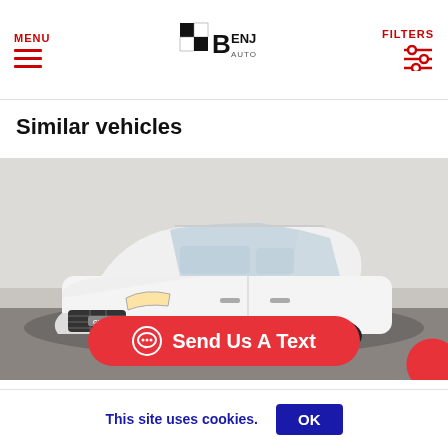MENU | Benji Auto Sales | FILTERS
Similar vehicles
[Figure (photo): White GMC Terrain SUV photographed in a dealership showroom, front three-quarter view, with a 'Send Us A Text' red pill-shaped button overlay at the bottom.]
This site uses cookies.